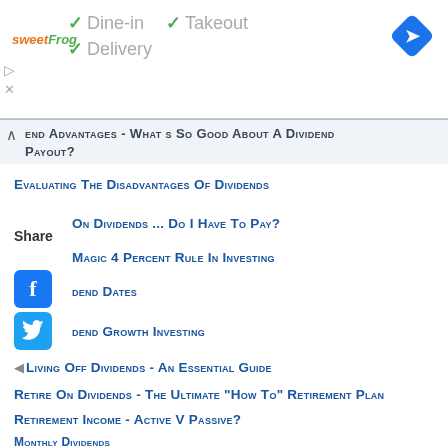[Figure (screenshot): Top banner with sweetFrog logo, checkmarks for Dine-in, Takeout, Delivery options, and a blue navigation arrow icon]
end Advantages - What s So Good About A Dividend Payout?
Evaluating The Disadvantages Of Dividends
On Dividends ... Do I Have To Pay?
Magic 4 Percent Rule In Investing
dend Dates
dend Growth Investing
Living Off Dividends - An Essential Guide
Retire On Dividends - The Ultimate "How To" Retirement Plan
Retirement Income - Active V Passive?
Monthly Dividends
Dividends Or Rents? Which Is The Better Long-Term Income Stream?